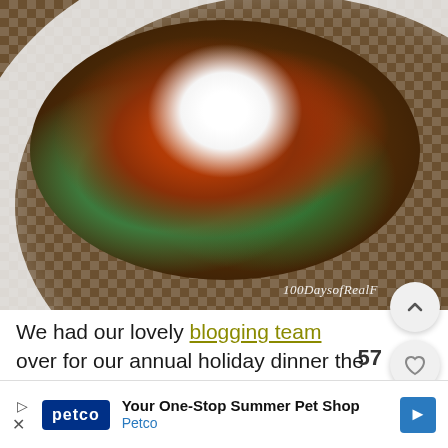[Figure (photo): A white bowl containing enchiladas or a Mexican-style dish topped with red/orange sauce, sour cream, and fresh cilantro/greens on a checkered tablecloth background. Watermark reads '100DaysofRealF'.]
We had our lovely blogging team over for our annual holiday dinner the other night! Here's the crew (at least those of us who live in Charlotte). I feel SO lucky to have had these talented individuals on our team for years now.
[Figure (infographic): Advertisement banner: Petco - Your One-Stop Summer Pet Shop]